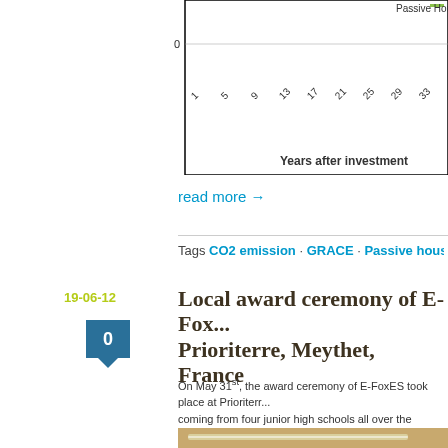[Figure (continuous-plot): Bottom portion of a line chart showing 'Years after investment' on x-axis (values 1 through 33+), y-axis starting at 0, with a legend showing 'Passive House' line (green). X-axis label reads 'Years after investment'.]
read more →
Tags CO2 emission · GRACE · Passive house · Saxony · sub-projects
19-06-12
0
Local award ceremony of E-Fox... Prioriterre, Meythet, France
On May 31st, the award ceremony of E-FoxES took place at Prioriterr... coming from four junior high schools all over the department of Haute... were all welcomed by a politician of Conseil General of Haute Savoie. presented the actions they implemented during the challenge in 15 m... sketches, others brought the thermography results they did in their bu...
[Figure (photo): Photo of wooden shelving or furniture with LED strip lights mounted underneath, shown from an angle. Light-colored wood construction in an interior setting.]